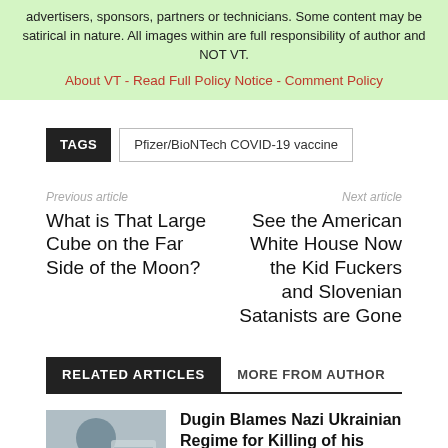advertisers, sponsors, partners or technicians. Some content may be satirical in nature. All images within are full responsibility of author and NOT VT.
About VT - Read Full Policy Notice - Comment Policy
TAGS  Pfizer/BioNTech COVID-19 vaccine
Previous article
What is That Large Cube on the Far Side of the Moon?
Next article
See the American White House Now the Kid Fuckers and Slovenian Satanists are Gone
RELATED ARTICLES  MORE FROM AUTHOR
[Figure (photo): Thumbnail photo of person with official-looking document/stamp]
Dugin Blames Nazi Ukrainian Regime for Killing of his Daughter. FSB shows